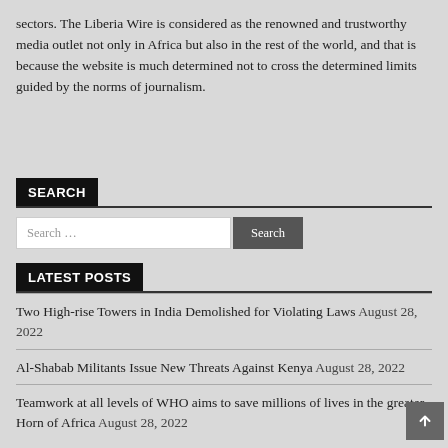sectors. The Liberia Wire is considered as the renowned and trustworthy media outlet not only in Africa but also in the rest of the world, and that is because the website is much determined not to cross the determined limits guided by the norms of journalism.
SEARCH
LATEST POSTS
Two High-rise Towers in India Demolished for Violating Laws August 28, 2022
Al-Shabab Militants Issue New Threats Against Kenya August 28, 2022
Teamwork at all levels of WHO aims to save millions of lives in the greater Horn of Africa August 28, 2022